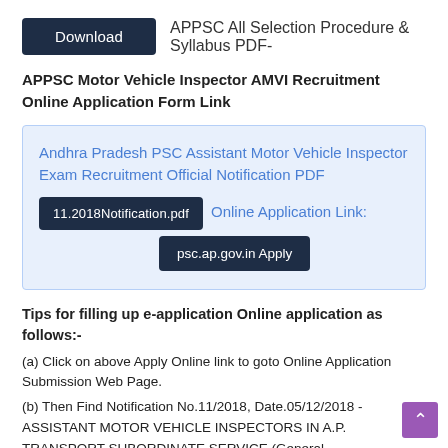[Figure (other): Download button followed by text: APPSC All Selection Procedure & Syllabus PDF-]
APPSC Motor Vehicle Inspector AMVI Recruitment Online Application Form Link
[Figure (other): Blue box with link: Andhra Pradesh PSC Assistant Motor Vehicle Inspector Exam Recruitment Official Notification PDF, button: 11.2018Notification.pdf, Online Application Link: button psc.ap.gov.in Apply]
Tips for filling up e-application Online application as follows:-
(a) Click on above Apply Online link to goto Online Application Submission Web Page.
(b) Then Find Notification No.11/2018, Date.05/12/2018 - ASSISTANT MOTOR VEHICLE INSPECTORS IN A.P. TRANSPORT SUBORDINATE SERVICE (General